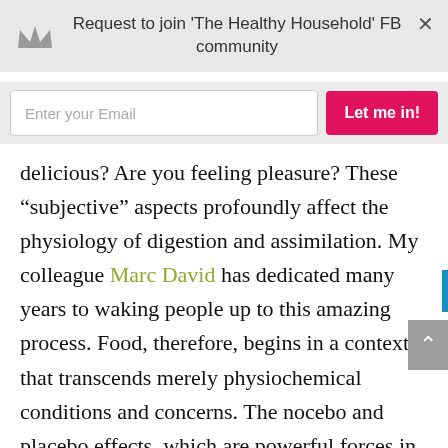[Figure (screenshot): Website overlay popup banner with crown icon, text 'Request to join The Healthy Household FB community', close X button, email input field with placeholder 'Enter your Email', and pink 'Let me in!' submit button]
delicious? Are you feeling pleasure? These “subjective” aspects profoundly affect the physiology of digestion and assimilation. My colleague Marc David has dedicated many years to waking people up to this amazing process. Food, therefore, begins in a context that transcends merely physiochemical conditions and concerns. The nocebo and placebo effects, which are powerful forces in the setting of